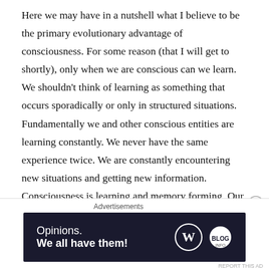Here we may have in a nutshell what I believe to be the primary evolutionary advantage of consciousness. For some reason (that I will get to shortly), only when we are conscious can we learn. We shouldn't think of learning as something that occurs sporadically or only in structured situations. Fundamentally we and other conscious entities are learning constantly. We never have the same experience twice. We are constantly encountering new situations and getting new information.  Consciousness is learning and memory forming. Our conscious lives are an ongoing and continual process of discovery and learning. During sleep (how appropriately!) we apparently consolidate the learning of the day and the previous
Advertisements
[Figure (other): Advertisement banner with dark navy background showing 'Opinions. We all have them!' text and WordPress logo with another circular logo on the right.]